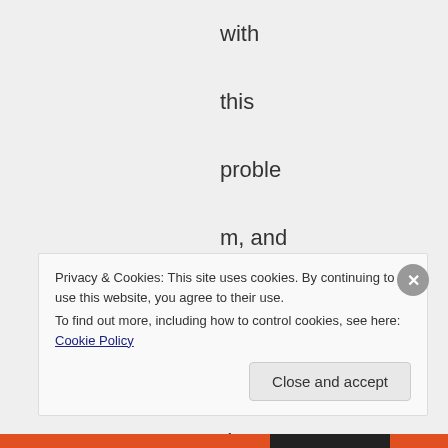with this problem, and that it has done no lasting harm. Yes
Privacy & Cookies: This site uses cookies. By continuing to use this website, you agree to their use.
To find out more, including how to control cookies, see here: Cookie Policy
Close and accept